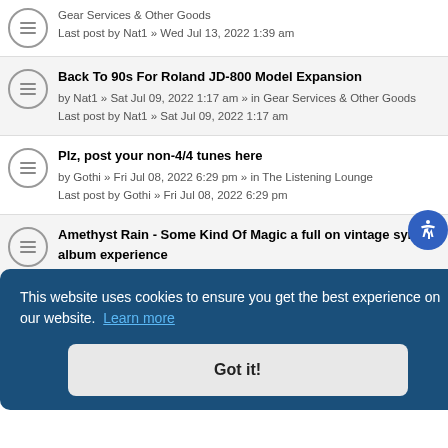Gear Services & Other Goods
Last post by Nat1 » Wed Jul 13, 2022 1:39 am
Back To 90s For Roland JD-800 Model Expansion
by Nat1 » Sat Jul 09, 2022 1:17 am » in Gear Services & Other Goods
Last post by Nat1 » Sat Jul 09, 2022 1:17 am
Plz, post your non-4/4 tunes here
by Gothi » Fri Jul 08, 2022 6:29 pm » in The Listening Lounge
Last post by Gothi » Fri Jul 08, 2022 6:29 pm
Amethyst Rain - Some Kind Of Magic a full on vintage synths album experience
by madmaverick » Sat Jul 02, 2022 4:15 pm » in The Listening Lounge
Last post by madmaverick » Sat Jul 02, 2022 4:15 pm
This website uses cookies to ensure you get the best experience on our website. Learn more
Got it!